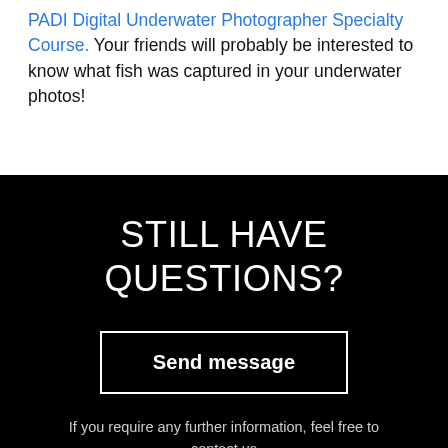PADI Digital Underwater Photographer Specialty Course. Your friends will probably be interested to know what fish was captured in your underwater photos!
STILL HAVE QUESTIONS?
Send message
If you require any further information, feel free to contact us